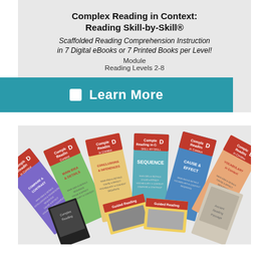Complex Reading in Context: Reading Skill-by-Skill®
Scaffolded Reading Comprehension Instruction in 7 Digital eBooks or 7 Printed Books per Level!
Module
Reading Levels 2-8
✔ Learn More
[Figure (photo): Fan arrangement of Complex Reading in Context Level D workbooks including titles: Compare & Contrast, Main Idea & Details, Conclusions & Inferences, Sequence, Cause & Effect, Vocabulary in Context, and additional student reading materials]